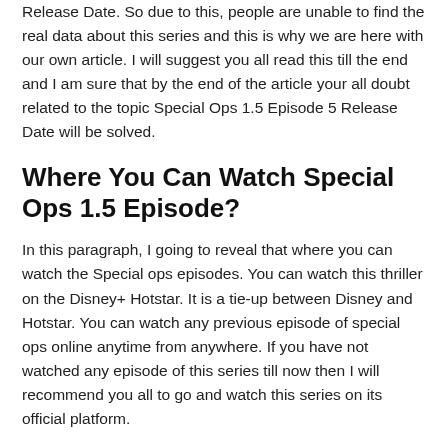Release Date. So due to this, people are unable to find the real data about this series and this is why we are here with our own article. I will suggest you all read this till the end and I am sure that by the end of the article your all doubt related to the topic Special Ops 1.5 Episode 5 Release Date will be solved.
Where You Can Watch Special Ops 1.5 Episode?
In this paragraph, I going to reveal that where you can watch the Special ops episodes. You can watch this thriller on the Disney+ Hotstar. It is a tie-up between Disney and Hotstar. You can watch any previous episode of special ops online anytime from anywhere. If you have not watched any episode of this series till now then I will recommend you all to go and watch this series on its official platform.